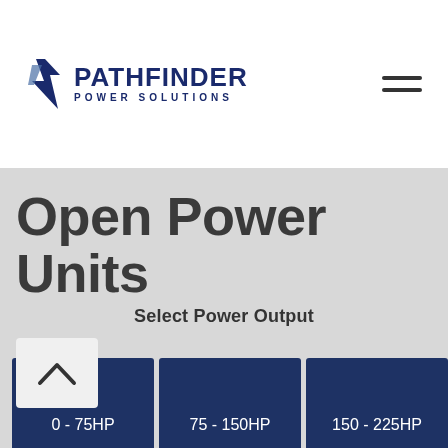[Figure (logo): Pathfinder Power Solutions logo with stylized bolt/wing icon and company name in dark navy blue]
Open Power Units
Select Power Output
0 - 75HP
75 - 150HP
150 - 225HP